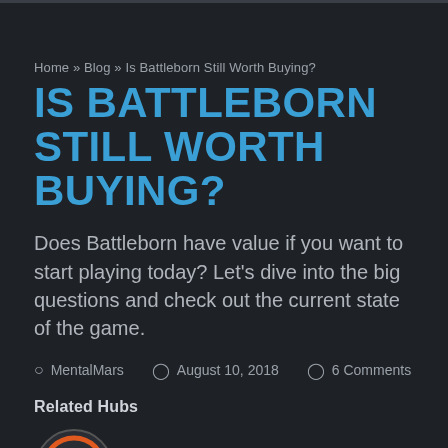Home » Blog » Is Battleborn Still Worth Buying?
IS BATTLEBORN STILL WORTH BUYING?
Does Battleborn have value if you want to start playing today? Let's dive into the big questions and check out the current state of the game.
MentalMars   August 10, 2018   6 Comments
Related Hubs
[Figure (logo): Battleborn logo circular emblem partially visible at bottom]